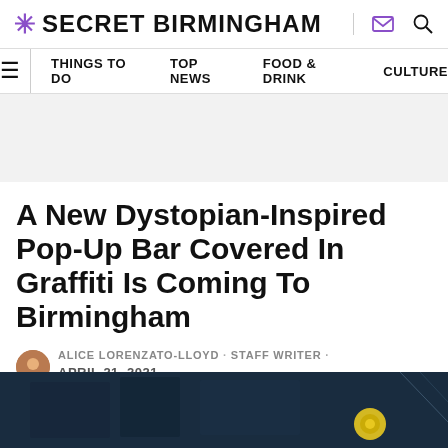SECRET BIRMINGHAM
THINGS TO DO  TOP NEWS  FOOD & DRINK  CULTURE
A New Dystopian-Inspired Pop-Up Bar Covered In Graffiti Is Coming To Birmingham
ALICE LORENZATO-LLOYD · STAFF WRITER · APRIL 21, 2021
[Figure (photo): Dark atmospheric photo partially visible at bottom of page, appears to be graffiti art in dark blue tones with a yellow element]